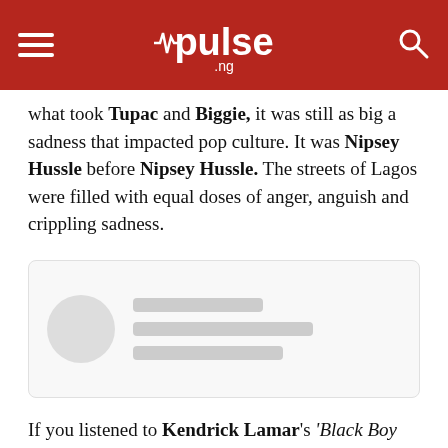pulse.ng
what took Tupac and Biggie, it was still as big a sadness that impacted pop culture. It was Nipsey Hussle before Nipsey Hussle. The streets of Lagos were filled with equal doses of anger, anguish and crippling sadness.
[Figure (other): Blurred/placeholder social media embed or user profile card with circle avatar and grey lines]
If you listened to Kendrick Lamar's 'Black Boy Fly,' off his incredible debut album, Good Kid Maad City, you would understand what life and dreams of the future seemed like for offpsrings of inner-city culture where every day is another privilege, not a gift.